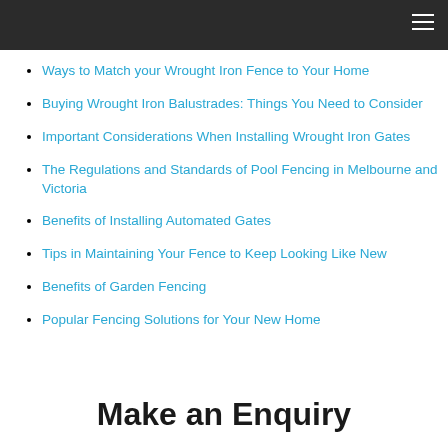Ways to Match your Wrought Iron Fence to Your Home
Buying Wrought Iron Balustrades: Things You Need to Consider
Important Considerations When Installing Wrought Iron Gates
The Regulations and Standards of Pool Fencing in Melbourne and Victoria
Benefits of Installing Automated Gates
Tips in Maintaining Your Fence to Keep Looking Like New
Benefits of Garden Fencing
Popular Fencing Solutions for Your New Home
Make an Enquiry